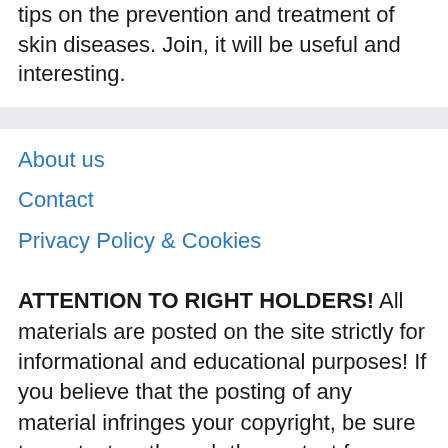tips on the prevention and treatment of skin diseases. Join, it will be useful and interesting.
About us
Contact
Privacy Policy & Cookies
ATTENTION TO RIGHT HOLDERS! All materials are posted on the site strictly for informational and educational purposes! If you believe that the posting of any material infringes your copyright, be sure to contact us through the contact form and your material will be removed!